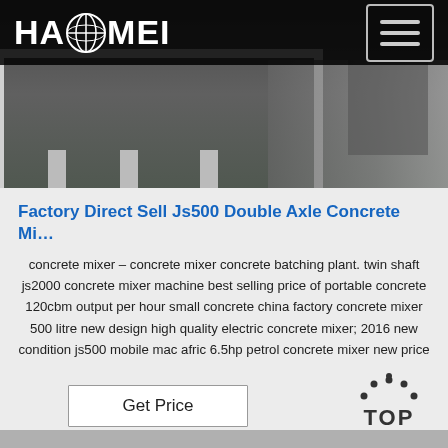[Figure (photo): Header image showing industrial machinery (concrete mixer equipment) with a dark overlay navigation bar containing the HAOMEI logo and hamburger menu icon]
Factory Direct Sell Js500 Double Axle Concrete Mi…
concrete mixer – concrete mixer concrete batching plant. twin shaft js2000 concrete mixer machine best selling price of portable concrete 120cbm output per hour small concrete china factory concrete mixer 500 litre new design high quality electric concrete mixer; 2016 new condition js500 mobile mac afric 6.5hp petrol concrete mixer new price
[Figure (logo): TOP badge/button with dots arranged in an arc above the word TOP in dark text]